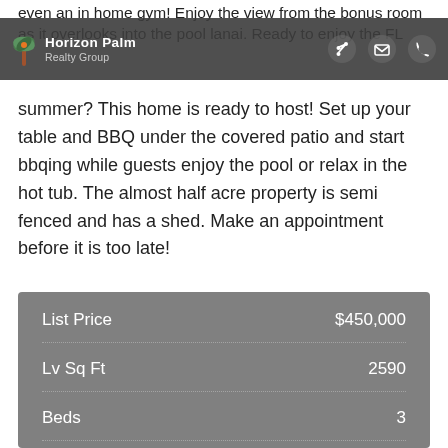even an in home gym! Enjoy the view from the bonus room as it overlooks into the pool lanai. Ready to enjoy the FL
[Figure (logo): Horizon Palm Realty Group logo with palm tree icon on dark header bar]
summer? This home is ready to host! Set up your table and BBQ under the covered patio and start bbqing while guests enjoy the pool or relax in the hot tub. The almost half acre property is semi fenced and has a shed. Make an appointment before it is too late!
| Field | Value |
| --- | --- |
| List Price | $450,000 |
| Lv Sq Ft | 2590 |
| Beds | 3 |
| Baths | 2 |